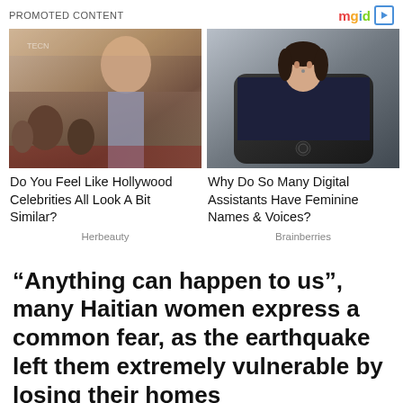PROMOTED CONTENT
[Figure (photo): Celebrity woman at event with fans in background, silver backless dress]
[Figure (photo): Woman's face emerging from a smartphone screen lying flat]
Do You Feel Like Hollywood Celebrities All Look A Bit Similar?
Why Do So Many Digital Assistants Have Feminine Names & Voices?
Herbeauty
Brainberries
“Anything can happen to us”, many Haitian women express a common fear, as the earthquake left them extremely vulnerable by losing their homes